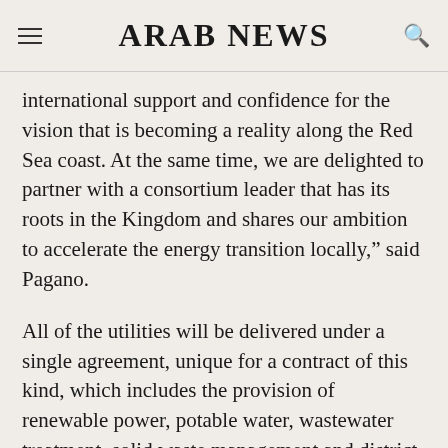ARAB NEWS
international support and confidence for the vision that is becoming a reality along the Red Sea coast. At the same time, we are delighted to partner with a consortium leader that has its roots in the Kingdom and shares our ambition to accelerate the energy transition locally,” said Pagano.
All of the utilities will be delivered under a single agreement, unique for a contract of this kind, which includes the provision of renewable power, potable water, wastewater treatment, solid waste management and district cooling for the 16 hotels, international airport and infrastructure that make up Phase 1 of the Red